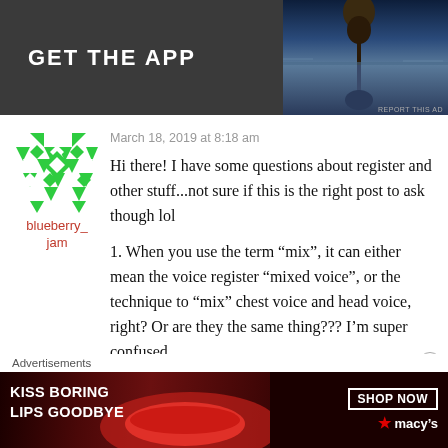[Figure (illustration): Top advertisement banner with dark grey background, bold white text 'GET THE APP' on left, and a nature photo (tree reflected in water) on right. 'REPORT THIS AD' text in small grey at bottom right.]
March 18, 2019 at 8:18 am
[Figure (illustration): Green and white geometric/diamond pattern avatar icon for user blueberry_jam]
blueberry_
jam
Hi there! I have some questions about register and other stuff...not sure if this is the right post to ask though lol
1. When you use the term “mix”, it can either mean the voice register “mixed voice”, or the technique to “mix” chest voice and head voice, right? Or are they the same thing??? I’m super confused.
Advertisements
[Figure (illustration): Bottom advertisement banner for Macy's lipstick: dark red background with close-up of woman's lips, text 'KISS BORING LIPS GOODBYE', 'SHOP NOW' button, and Macy's star logo]